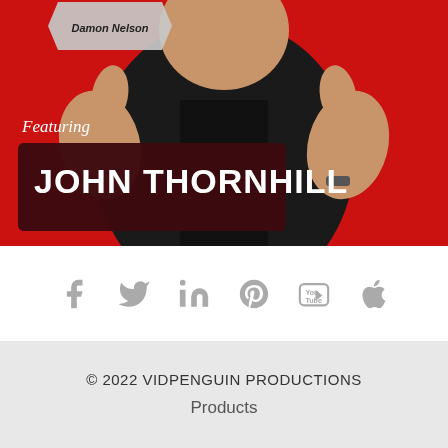[Figure (photo): Promotional podcast/video thumbnail image with red background showing a man in a black shirt giving two thumbs up. Top has a hexagon/diamond shape with 'Damon Nelson' text. Lower section has italic script 'Featuring' and a dark red banner with 'JOHN THORNHILL' in bold white text.]
[Figure (infographic): Social media icons row: Facebook (f), Twitter (bird), LinkedIn (in), Pinterest (p), YouTube (You/Tube), Apple (apple logo) — all in light gray]
© 2022 VIDPENGUIN PRODUCTIONS
Products